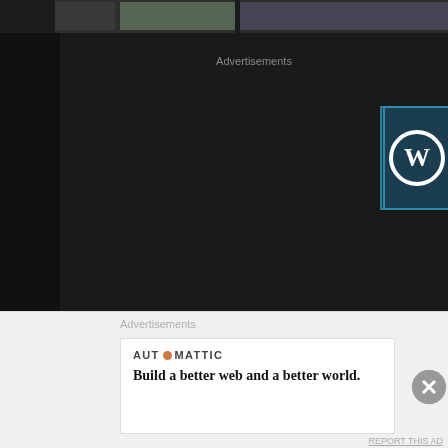[Figure (screenshot): Top strip with partial web page header images on dark background]
Advertisements
[Figure (screenshot): WordPress advertisement banner: 'Opinions. We all have them!' with WordPress logo on dark teal background]
Bb. Pilipinas-International 2012: #8 NICOLE SCHMITZ
[Figure (photo): Small thumbnail of a crown/tiara]
[Figure (photo): Close-up photo of an ornate jeweled crown/tiara against a red background]
Advertisements
[Figure (screenshot): Automattic advertisement: 'Build a better web and a better world.' with Automattic logo]